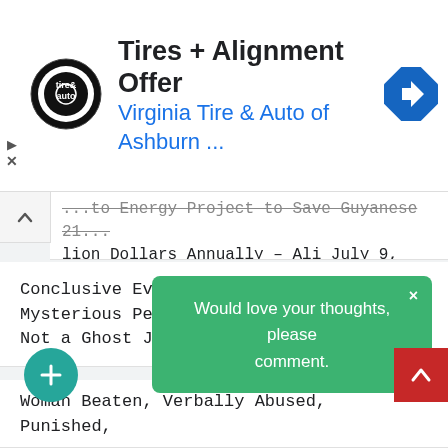[Figure (screenshot): Advertisement banner for Virginia Tire & Auto of Ashburn with logo, title 'Tires + Alignment Offer', blue subtitle, and navigation icon]
...to Energy Project to Save Guyanese 21...lion Dollars Annually – Ali July 9, 2022
Conclusive Evidence Provided that Mysterious Person is a Homeless Man and Not a Ghost July 7, 2022
Woman Beaten, Verbally Abused, Punished, and Humiliated for Allegedly Stealing Chairs from a Church July 7, 2022
Australia Removes All Covid-19 Travel Res...
Gra...harges in
Would love your thoughts, please comment.